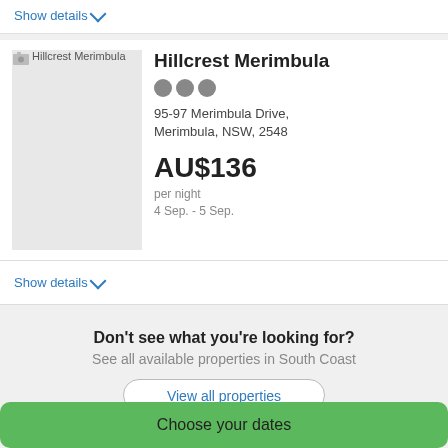Show details
[Figure (photo): Hillcrest Merimbula property image placeholder]
Hillcrest Merimbula
95-97 Merimbula Drive, Merimbula, NSW, 2548
AU$136
per night
4 Sep. - 5 Sep.
Show details
Don't see what you're looking for?
See all available properties in South Coast
View all properties
Choose your dates